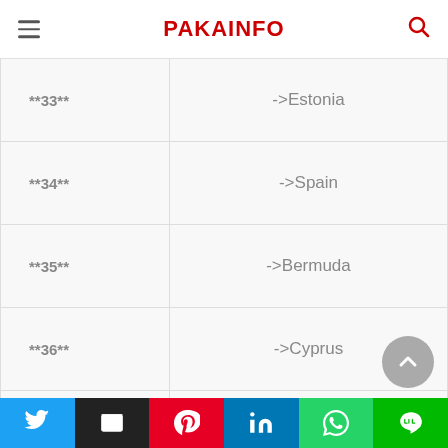PAKAINFO
| Code | Country |
| --- | --- |
| **33** | ->Estonia |
| **34** | ->Spain |
| **35** | ->Bermuda |
| **36** | ->Cyprus |
| **37** | ->Russia |
| **38** | ->Czech Republic |